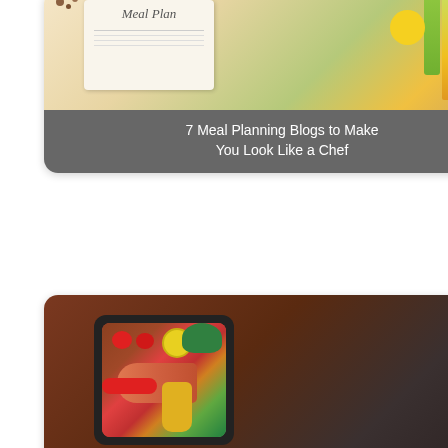[Figure (photo): Food photo card: Meal planning ingredients with text overlay '7 Meal Planning Blogs to Make You Look Like a Chef']
[Figure (photo): Food photo card: Black pan with salmon and colorful vegetables with text overlay '8 Inspirational Cookbooks for Your Table and Your Life']
[Figure (photo): Food photo card: Plate with egg toast and strawberries, glass of juice with text overlay '23 Easy Egg Recipes For Breakfast Or Anytime']
[Figure (photo): Partial food photo card at bottom edge of page (cut off)]